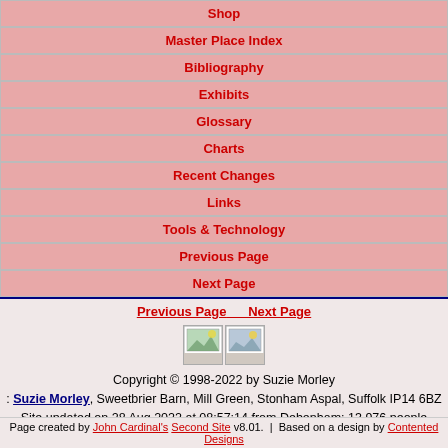Shop
Master Place Index
Bibliography
Exhibits
Glossary
Charts
Recent Changes
Links
Tools & Technology
Previous Page
Next Page
Previous Page    Next Page
[Figure (illustration): Two small image icons side by side]
Copyright © 1998-2022 by Suzie Morley : Suzie Morley, Sweetbrier Barn, Mill Green, Stonham Aspal, Suffolk IP14 6BZ
Site updated on 28 Aug 2022 at 08:57:14 from Debenham; 13,976 people
Page created by John Cardinal's Second Site v8.01.  |  Based on a design by Contented Designs